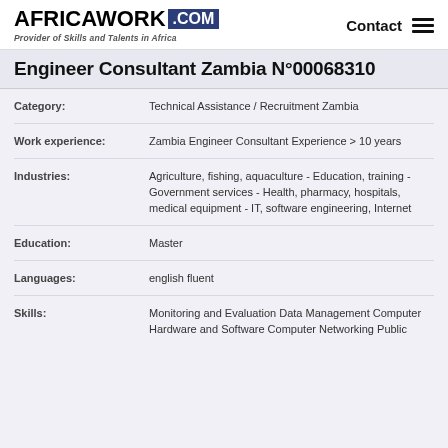AFRICAWORK .COM - Provider of Skills and Talents in Africa - Contact
Engineer Consultant Zambia N°00068310
Category: Technical Assistance / Recruitment Zambia
Work experience: Zambia Engineer Consultant Experience > 10 years
Industries: Agriculture, fishing, aquaculture - Education, training - Government services - Health, pharmacy, hospitals, medical equipment - IT, software engineering, Internet
Education: Master
Languages: english fluent
Skills: Monitoring and Evaluation Data Management Computer Hardware and Software Computer Networking Public